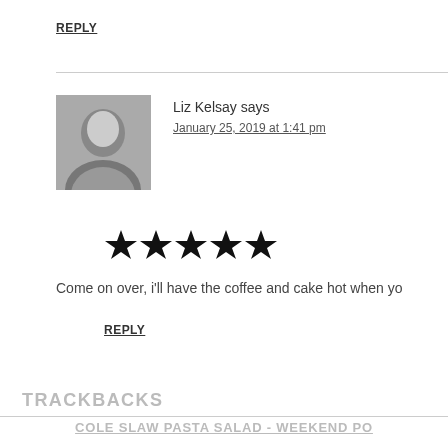REPLY
Liz Kelsay says
January 25, 2019 at 1:41 pm
[Figure (other): Five filled black star rating icons]
Come on over, i'll have the coffee and cake hot when yo
REPLY
TRACKBACKS
COLE SLAW PASTA SALAD - WEEKEND PO